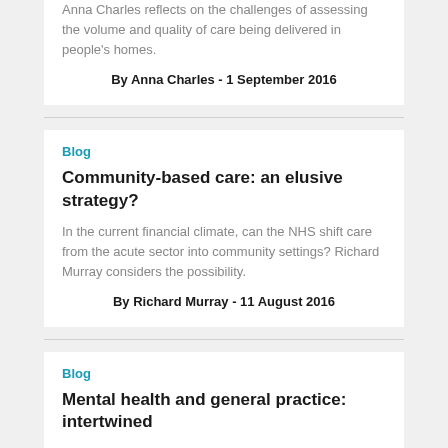Anna Charles reflects on the challenges of assessing the volume and quality of care being delivered in people's homes.
By Anna Charles - 1 September 2016
Blog
Community-based care: an elusive strategy?
In the current financial climate, can the NHS shift care from the acute sector into community settings? Richard Murray considers the possibility.
By Richard Murray - 11 August 2016
Blog
Mental health and general practice: intertwined